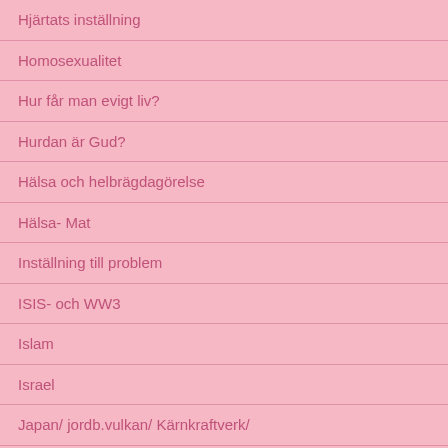Hjärtats inställning
Homosexualitet
Hur får man evigt liv?
Hurdan är Gud?
Hälsa och helbrägdagörelse
Hälsa- Mat
Inställning till problem
ISIS- och WW3
Islam
Israel
Japan/ jordb.vulkan/ Kärnkraftverk/
Jens Garnfeldt. Varning!
Jeremia- den gråtande profeten
Jesaja bok i Bibeln/Jesus
Jesu död/"Påsk"